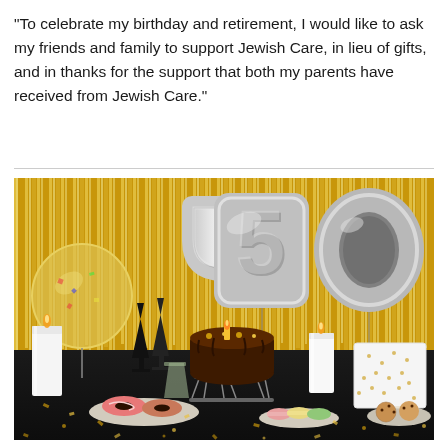"To celebrate my birthday and retirement, I would like to ask my friends and family to support Jewish Care, in lieu of gifts, and in thanks for the support that both my parents have received from Jewish Care."
[Figure (photo): A party table setup with a gold tinsel fringe curtain backdrop, large silver '50' foil balloons, a chocolate birthday cake with a gold '50' topper on a cake stand, black champagne flutes, donuts on a plate, macarons, cookies, white pillar candles, and a gold confetti balloon.]